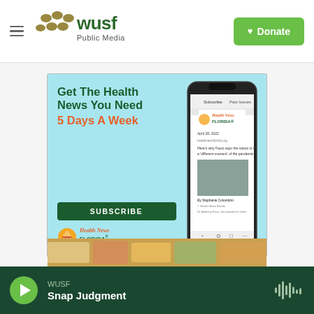[Figure (logo): WUSF Public Media logo with hamburger menu icon]
[Figure (logo): Donate button with green background and heart icon]
[Figure (infographic): Health News Florida advertisement: Get The Health News You Need 5 Days A Week, Subscribe button, Health News Florida logo, phone mockup showing newsletter]
[Figure (photo): Partial image strip visible at bottom, colorful food or similar imagery]
[Figure (infographic): Audio player bar: WUSF, Snap Judgment, with play button and waveform icon]